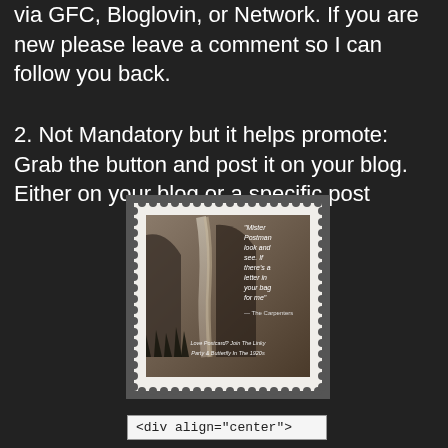via GFC, Bloglovin, or Network. If you are new please leave a comment so I can follow you back.
2. Not Mandatory but it helps promote:  Grab the button and post it on your blog. Either on your blog or a specific post
[Figure (illustration): A postage stamp graphic featuring a sepia-toned waterfall/mountain landscape with a quote: 'Mister Postman look and see. If there's a letter in your bag for me' — The Carpenters, and a caption about Join The Linky Party & Butterfly In The 1920s]
<div align="center">